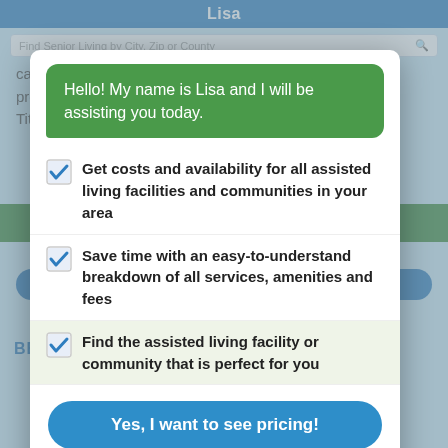[Figure (screenshot): Background webpage showing senior living finder with 'Lisa' header, search bar, body text about housing seniors, phone number watermark, green bar, View Pricing button, call number, and Bethesda on Turkey Creek footer title.]
Hello! My name is Lisa and I will be assisting you today.
Get costs and availability for all assisted living facilities and communities in your area
Save time with an easy-to-understand breakdown of all services, amenities and fees
Find the assisted living facility or community that is perfect for you
Yes, I want to see pricing!
Or call (877) 663-0047